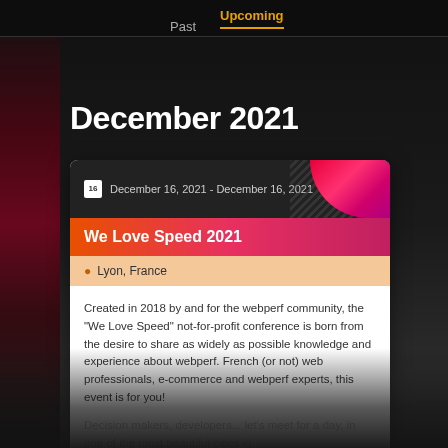Upcoming  Past
December 2021
December 16, 2021 - December 16, 2021
We Love Speed 2021
Lyon, France
Created in 2018 by and for the webperf community, the "We Love Speed" not-for-profit conference is born from the desire to share as widely as possible knowledge and experience about webperf. French (or not) web professionals, e-commerce and webperf experts, this event is for you!
Decision makers, developers... let's meet for a day, in one of the most beautiful cities in